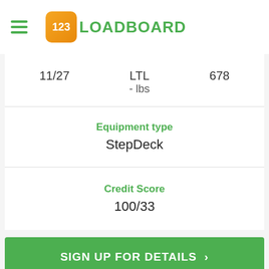123LOADBOARD
11/27   LTL   678
- lbs
Equipment type
StepDeck
Credit Score
100/33
SIGN UP FOR DETAILS >